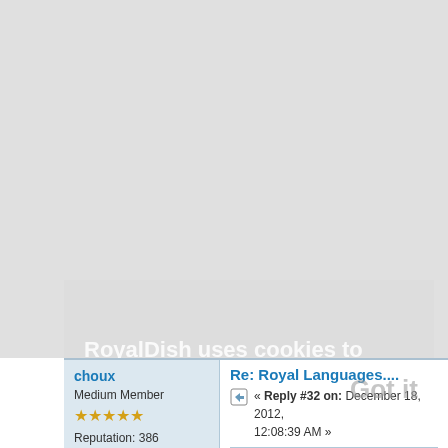RoyalDish uses cookies to ensure you get the best experience.  Learn more
Got it
choux
Medium Member
★★★★★
Reputation: 386
Re: Royal Languages....
« Reply #32 on: December 18, 2012, 12:08:39 AM »
Quote from: Clara on December 17, 2012,